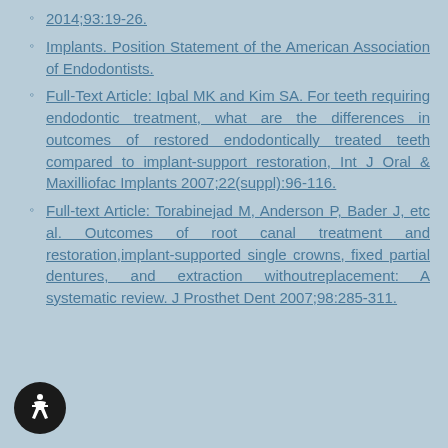2014;93:19-26.
Implants. Position Statement of the American Association of Endodontists.
Full-Text Article: Iqbal MK and Kim SA. For teeth requiring endodontic treatment, what are the differences in outcomes of restored endodontically treated teeth compared to implant-support restoration, Int J Oral & Maxilliofac Implants 2007;22(suppl):96-116.
Full-text Article: Torabinejad M, Anderson P, Bader J, etc al. Outcomes of root canal treatment and restoration,implant-supported single crowns, fixed partial dentures, and extraction withoutreplacement: A systematic review. J Prosthet Dent 2007;98:285-311.